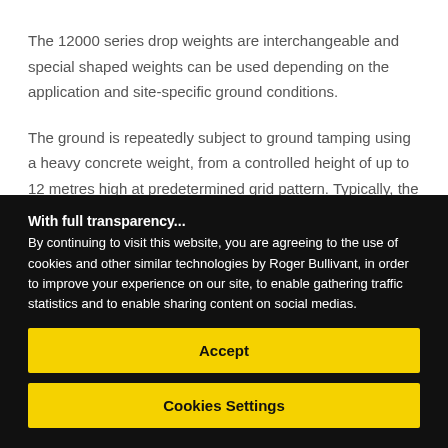The 12000 series drop weights are interchangeable and special shaped weights can be used depending on the application and site-specific ground conditions.
The ground is repeatedly subject to ground tamping using a heavy concrete weight, from a controlled height of up to 12 metres high at predetermined grid pattern. Typically, the
With full transparency...
By continuing to visit this website, you are agreeing to the use of cookies and other similar technologies by Roger Bullivant, in order to improve your experience on our site, to enable gathering traffic statistics and to enable sharing content on social medias.
Accept
Cookies Settings